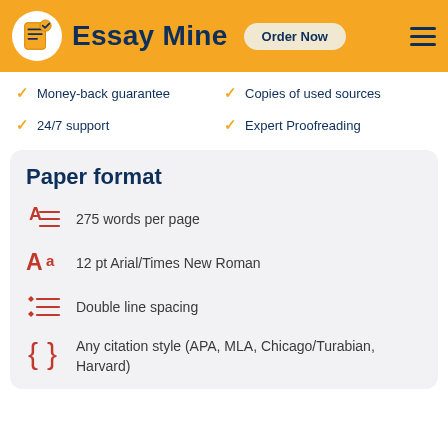Essay Mine — Order Now
Money-back guarantee
24/7 support
Copies of used sources
Expert Proofreading
Paper format
275 words per page
12 pt Arial/Times New Roman
Double line spacing
Any citation style (APA, MLA, Chicago/Turabian, Harvard)